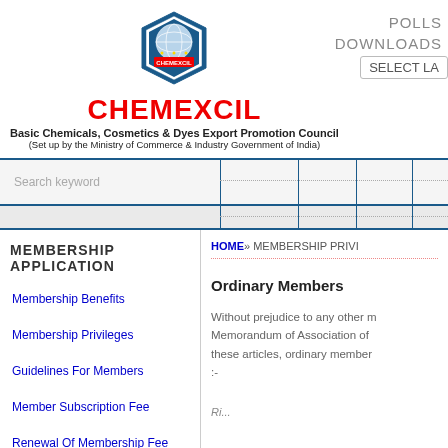[Figure (logo): CHEMEXCIL hexagonal logo with globe and text]
CHEMEXCIL
Basic Chemicals, Cosmetics & Dyes Export Promotion Council
(Set up by the Ministry of Commerce & Industry Government of India)
POLLS
DOWNLOADS
SELECT LA
Search keyword
MEMBERSHIP APPLICATION
HOME» MEMBERSHIP PRIVI
Membership Benefits
Membership Privileges
Guidelines For Members
Member Subscription Fee
Renewal Of Membership Fee
Ordinary Members
Without prejudice to any other m... Memorandum of Association of... these articles, ordinary member... :-
Ri...